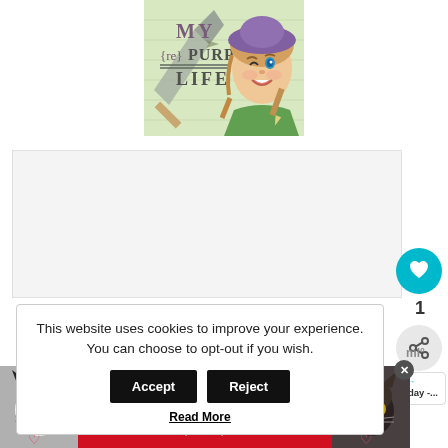[Figure (logo): My {re}Purposed Life blog logo featuring a cartoon girl with a winking face wearing a purple hat, holding tools, on a green background with decorative arrows/rulers]
[Figure (other): Large white/gray content area placeholder below the logo]
[Figure (infographic): Teal circular heart/like button with count of 1 below it, and a share button]
[Figure (other): What's Next panel with Social Saturday text]
This website uses cookies to improve your experience. You can choose to opt-out if you wish.
Accept
Reject
Read More
[Figure (photo): Best Friends Forever advertisement banner with two cats (black and white cat on left, tabby/black cat on right) on a red background]